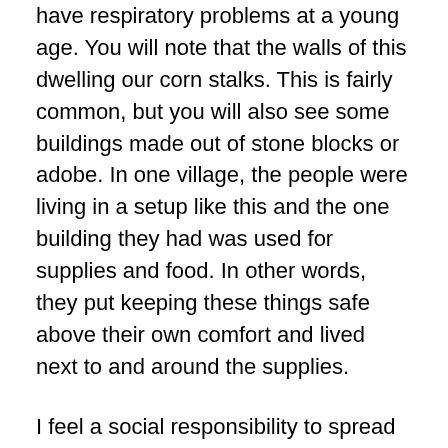have respiratory problems at a young age. You will note that the walls of this dwelling our corn stalks. This is fairly common, but you will also see some buildings made out of stone blocks or adobe. In one village, the people were living in a setup like this and the one building they had was used for supplies and food. In other words, they put keeping these things safe above their own comfort and lived next to and around the supplies.
I feel a social responsibility to spread the word about this organization and to participate in their work to the degree I can. As I said above, I am also a sponsor and I encourage others to get involved. Unfortunately, to some extent it is U.S. intervention in Guatemala that has contributed to the social inequity here and our habit to demand cheap coffee without thinking of the potential consequences on the people who grow it. So, if nothing